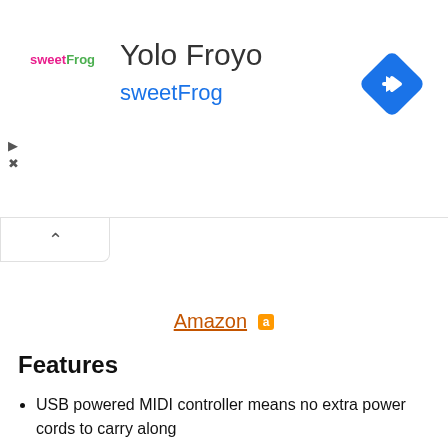[Figure (screenshot): Advertisement banner for Yolo Froyo / sweetFrog with logo, store name, link text, navigation diamond icon, and ad controls (play/close buttons).]
Amazon a
Features
USB powered MIDI controller means no extra power cords to carry along
25 velocity-sensitive keys
Thumbstick for pitch and modulation control and a built-in arpeggiator
Includes 8 Midi beat pads and eight assignable knobs for drum sounds.